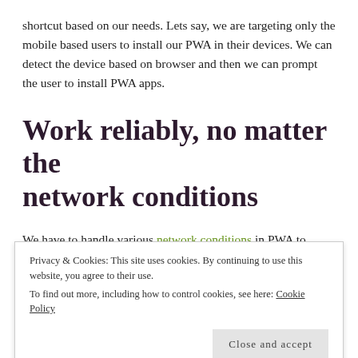shortcut based on our needs. Lets say, we are targeting only the mobile based users to install our PWA in their devices. We can detect the device based on browser and then we can prompt the user to install PWA apps.
Work reliably, no matter the network conditions
We have to handle various network conditions in PWA to meet the reliability
Privacy & Cookies: This site uses cookies. By continuing to use this website, you agree to their use.
To find out more, including how to control cookies, see here: Cookie Policy
Close and accept
Slow